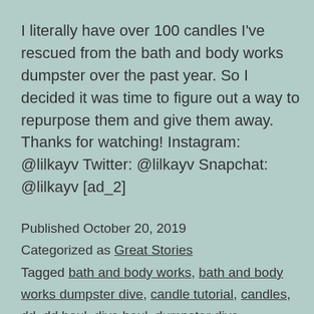I literally have over 100 candles I've rescued from the bath and body works dumpster over the past year. So I decided it was time to figure out a way to repurpose them and give them away. Thanks for watching! Instagram: @lilkayv Twitter: @lilkayv Snapchat: @lilkayv [ad_2]
Published October 20, 2019
Categorized as Great Stories
Tagged bath and body works, bath and body works dumpster dive, candle tutorial, candles, dd, dd haul, dive haul, dumpster dive, dumpster dive haul, how to, how to